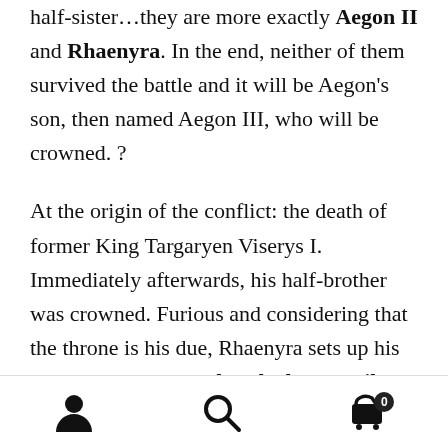half-sister…they are more exactly Aegon II and Rhaenyra. In the end, neither of them survived the battle and it will be Aegon's son, then named Aegon III, who will be crowned. ?
At the origin of the conflict: the death of former King Targaryen Viserys I. Immediately afterwards, his half-brother was crowned. Furious and considering that the throne is his due, Rhaenyra sets up his own council called The Black Council. To oppose her half-brother, she crowns herself. What audacity! The green
[Figure (infographic): Bottom navigation bar with three icons: a user/person icon on the left, a search/magnifying glass icon in the center, and a shopping cart icon with a badge showing '0' on the right.]